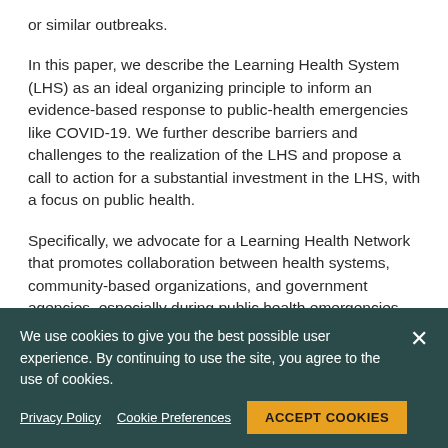or similar outbreaks.
In this paper, we describe the Learning Health System (LHS) as an ideal organizing principle to inform an evidence-based response to public-health emergencies like COVID-19. We further describe barriers and challenges to the realization of the LHS and propose a call to action for a substantial investment in the LHS, with a focus on public health.
Specifically, we advocate for a Learning Health Network that promotes collaboration between health systems, community-based organizations, and government agencies, especially during public health emergencies. We have approached this commentary through the [partially obscured] experience working with clinical and operational units
We use cookies to give you the best possible user experience. By continuing to use the site, you agree to the use of cookies.
Privacy Policy   Cookie Preferences   ACCEPT COOKIES